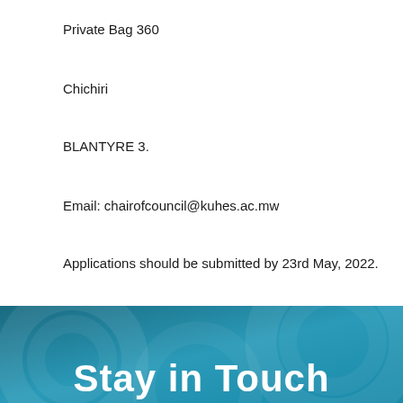Private Bag 360
Chichiri
BLANTYRE 3.
Email: chairofcouncil@kuhes.ac.mw
Applications should be submitted by 23rd May, 2022.
[Figure (illustration): Dark teal/blue gradient banner background with abstract circular patterns and large bold white text reading 'Stay in Touch']